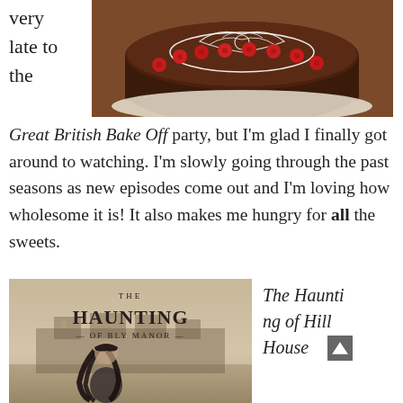very
late to
the
[Figure (photo): Overhead photo of a chocolate cake decorated with red raspberries and white decorative icing pattern on top]
Great British Bake Off party, but I'm glad I finally got around to watching. I'm slowly going through the past seasons as new episodes come out and I'm loving how wholesome it is! It also makes me hungry for all the sweets.
[Figure (photo): Poster/cover image for 'The Haunting of Bly Manor' showing a ghostly figure of a girl with long dark hair standing in a misty field with a manor house in the background]
The Haunting of Hill House